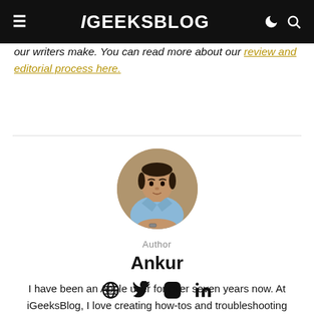iGEEKSBLOG
our writers make. You can read more about our review and editorial process here.
[Figure (photo): Circular profile photo of author Ankur, a young man in a light blue shirt, sitting with hands folded, in front of a stone wall background.]
Author
Ankur
[Figure (infographic): Social media icons row: globe/website, Twitter, Instagram, LinkedIn]
I have been an Apple user for over seven years now. At iGeeksBlog, I love creating how-tos and troubleshooting